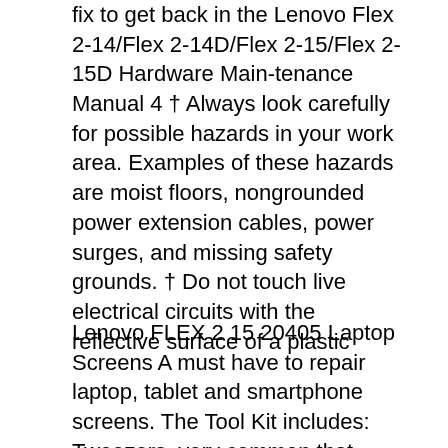fix to get back in the Lenovo Flex 2-14/Flex 2-14D/Flex 2-15/Flex 2-15D Hardware Main-tenance Manual 4 † Always look carefully for possible hazards in your work area. Examples of these hazards are moist floors, nongrounded power extension cables, power surges, and missing safety grounds. † Do not touch live electrical circuits with the reflective surface of a plastic
Lenovo FLEX 2 15 20405 Laptop Screens A must have to repair laptop, tablet and smartphone screens. The Tool Kit includes: Tweezers, very common that during the production run